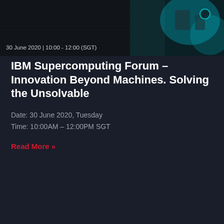[Figure (photo): Hero image of supercomputing/tech hardware with dark teal and black tones, overlaid with timestamp text '30 June 2020 | 10:00 - 12:00 (SGT)']
IBM Supercomputing Forum – Innovation Beyond Machines. Solving the Unsolvable
Date: 30 June 2020, Tuesday
Time: 10:00AM – 12:00PM SGT
Read More »